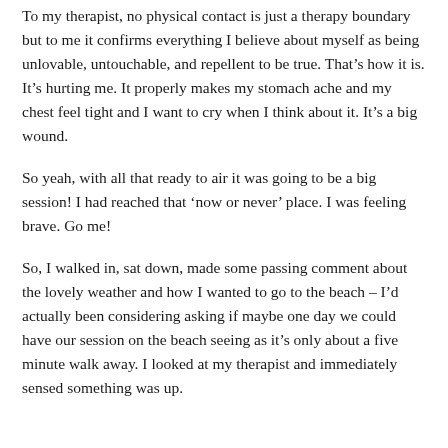To my therapist, no physical contact is just a therapy boundary but to me it confirms everything I believe about myself as being unlovable, untouchable, and repellent to be true. That's how it is. It's hurting me. It properly makes my stomach ache and my chest feel tight and I want to cry when I think about it. It's a big wound.
So yeah, with all that ready to air it was going to be a big session! I had reached that 'now or never' place. I was feeling brave. Go me!
So, I walked in, sat down, made some passing comment about the lovely weather and how I wanted to go to the beach – I'd actually been considering asking if maybe one day we could have our session on the beach seeing as it's only about a five minute walk away. I looked at my therapist and immediately sensed something was up.